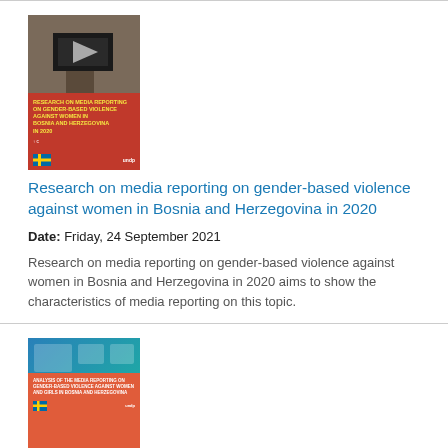[Figure (photo): Book cover thumbnail for research report on media reporting on gender-based violence against women in Bosnia and Herzegovina in 2020, red cover with photo of person holding smartphone.]
Research on media reporting on gender-based violence against women in Bosnia and Herzegovina in 2020
Date: Friday, 24 September 2021
Research on media reporting on gender-based violence against women in Bosnia and Herzegovina in 2020 aims to show the characteristics of media reporting on this topic.
[Figure (photo): Book cover thumbnail for a second research report, blue/teal cover with red lower section containing report title text.]